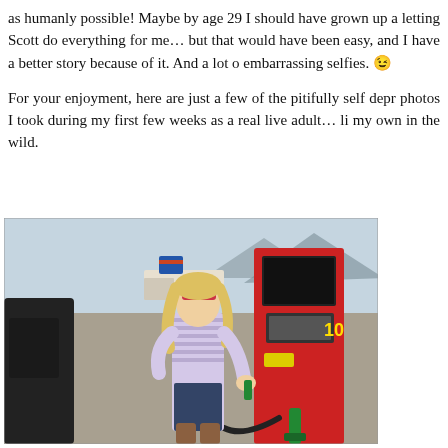as humanly possible! Maybe by age 29 I should have grown up a letting Scott do everything for me... but that would have been easy, and I have a better story because of it. And a lot o embarrassing selfies. 😉
For your enjoyment, here are just a few of the pitifully self depr photos I took during my first few weeks as a real live adult... li my own in the wild.
[Figure (photo): A young blonde woman wearing sunglasses and a striped long-sleeve shirt pumping gas at a gas station. She is standing next to a red gas pump holding the pump handle, wearing brown boots, with mountains and a parking lot visible in the background.]